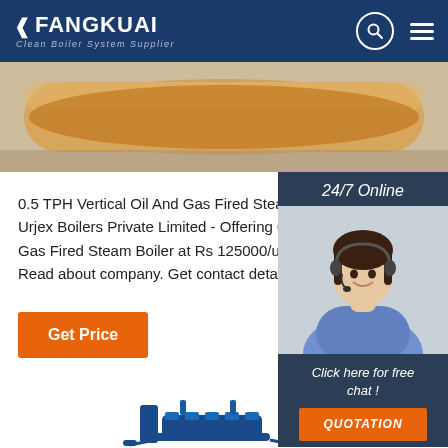FANGKUAI Clean Boiler System Supplier
[Figure (photo): Industrial pipe/boiler component hero image]
0.5 TPH Vertical Oil And Gas Fired Steam Boiler at Urjex Boilers Private Limited - Offering 0.5 TPH Vertical Oil And Gas Fired Steam Boiler at Rs 125000/unit in Mee Read about company. Get contact details and ac
[Figure (photo): 24/7 Online chat support widget with woman wearing headset]
Get Price
Click here for free chat !
QUOTATION
[Figure (illustration): TOP badge with orange dots above, and boiler equipment illustration below]